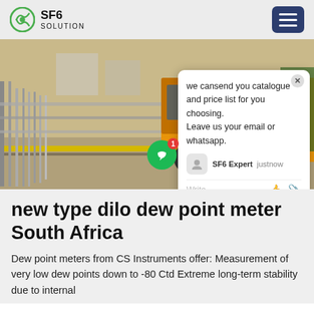[Figure (logo): SF6 Solution logo with circular green icon and bold text SF6 SOLUTION]
[Figure (photo): Industrial site photo showing yellow truck and metal railing/fence structure along a road, with a live chat popup overlay showing 'we can send you catalogue and price list for you choosing. Leave us your email or whatsapp.' and chat input area at bottom]
new type dilo dew point meter South Africa
Dew point meters from CS Instruments offer: Measurement of very low dew points down to -80 Ctd Extreme long-term stability due to internal